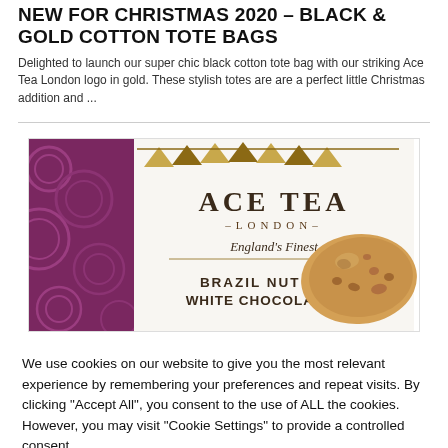NEW FOR CHRISTMAS 2020 – BLACK & GOLD COTTON TOTE BAGS
Delighted to launch our super chic black cotton tote bag with our striking Ace Tea London logo in gold. These stylish totes are are a perfect little Christmas addition and ...
[Figure (photo): Product photo showing Ace Tea London packaging (purple/maroon box with gold decorative pattern, white label reading ACE TEA LONDON – England's Finest – BRAZIL NUT & WHITE CHOCOLATE) alongside a cookie/biscuit on a white background.]
We use cookies on our website to give you the most relevant experience by remembering your preferences and repeat visits. By clicking "Accept All", you consent to the use of ALL the cookies. However, you may visit "Cookie Settings" to provide a controlled consent.
Cookie Settings   Reject All   Accept All